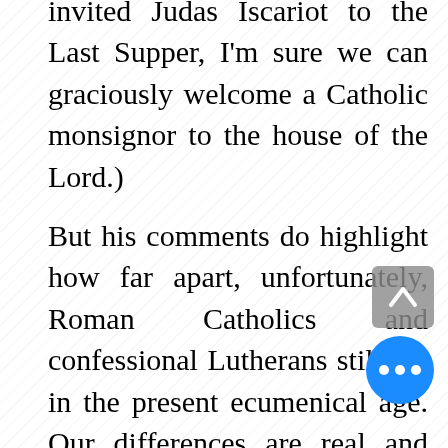invited Judas Iscariot to the Last Supper, I'm sure we can graciously welcome a Catholic monsignor to the house of the Lord.)
But his comments do highlight how far apart, unfortunately, Roman Catholics and confessional Lutherans still are in the present ecumenical age. Our differences are real and they touch on what are still core theological concerns